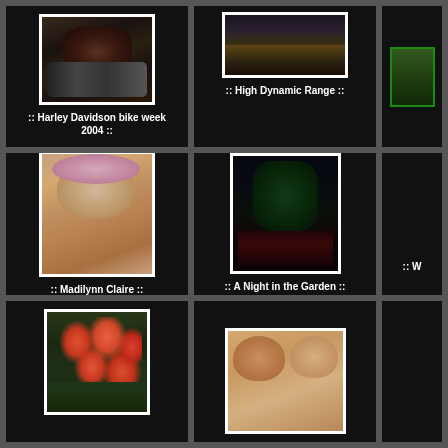[Figure (photo): Photo of woman on Harley Davidson motorcycle, dark tones]
:: Harley Davidson bike week 2004 ::
[Figure (photo): High Dynamic Range landscape photo of road through autumn scenery]
:: High Dynamic Range ::
[Figure (photo): Partial photo on right edge, cropped]
[Figure (photo): Portrait photo of baby Madilynn Claire wearing pink feather headband]
:: Madilynn Claire ::
[Figure (photo): Night photo of illuminated garden with green trees and red lights reflected in water, sculpture visible]
:: A Night in the Garden ::
:: W
[Figure (photo): Photo of red and pink tulips in bloom with green stems]
[Figure (photo): Photo of two smiling children, a boy and a girl]